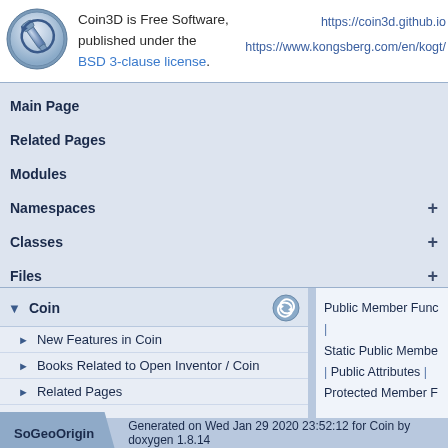[Figure (logo): Coin3D wrench logo — circular metallic icon with a wrench symbol]
Coin3D is Free Software, published under the BSD 3-clause license.
https://coin3d.github.io
https://www.kongsberg.com/en/kogt/
Main Page
Related Pages
Modules
Namespaces +
Classes +
Files +
▼ Coin
► New Features in Coin
► Books Related to Open Inventor / Coin
► Related Pages
► Modules
Public Member Func
|
Static Public Membe
| Public Attributes |
Protected Member F
SoGeoOrigin   Generated on Wed Jan 29 2020 23:52:12 for Coin by doxygen 1.8.14